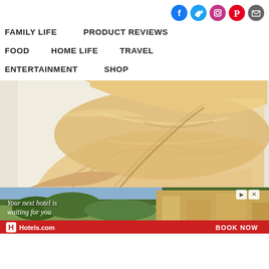[Figure (other): Social media icons: Facebook, Twitter, Instagram, Pinterest, Email]
FAMILY LIFE
PRODUCT REVIEWS
FOOD
HOME LIFE
TRAVEL
ENTERTAINMENT
SHOP
[Figure (photo): Close-up photo of folded fresh pasta dough sheets on a light background]
[Figure (other): Hotels.com advertisement banner: 'Your next hotel is waiting for you' with BOOK NOW button]